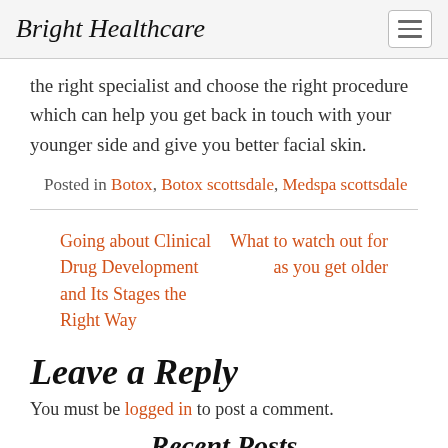Bright Healthcare
the right specialist and choose the right procedure which can help you get back in touch with your younger side and give you better facial skin.
Posted in Botox, Botox scottsdale, Medspa scottsdale
Going about Clinical Drug Development and Its Stages the Right Way
What to watch out for as you get older
Leave a Reply
You must be logged in to post a comment.
Recent Posts